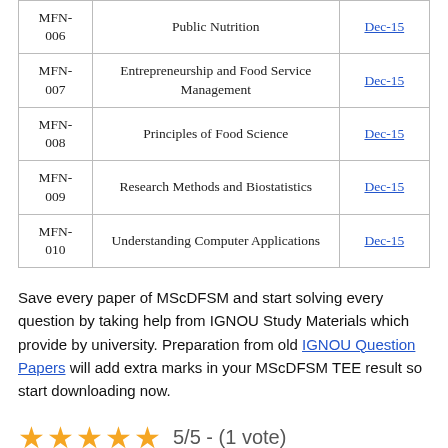| Code | Subject | Date |
| --- | --- | --- |
| MFN-006 | Public Nutrition | Dec-15 |
| MFN-007 | Entrepreneurship and Food Service Management | Dec-15 |
| MFN-008 | Principles of Food Science | Dec-15 |
| MFN-009 | Research Methods and Biostatistics | Dec-15 |
| MFN-010 | Understanding Computer Applications | Dec-15 |
Save every paper of MScDFSM and start solving every question by taking help from IGNOU Study Materials which provide by university. Preparation from old IGNOU Question Papers will add extra marks in your MScDFSM TEE result so start downloading now.
5/5 - (1 vote)